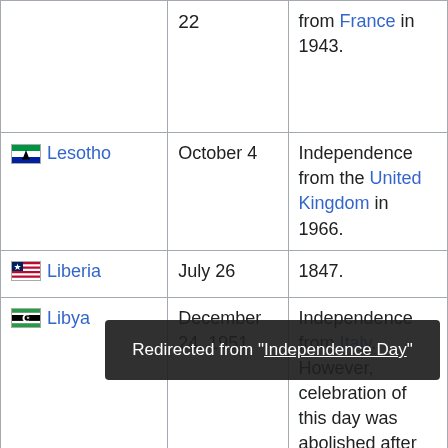| Country | Date | Notes |
| --- | --- | --- |
| (partial row) | 22 | from France in 1943. |
| Lesotho | October 4 | Independence from the United Kingdom in 1966. |
| Liberia | July 26 | 1847. |
| Libya | December 24, 1951 | Independence from Italy. However, celebration of this day was abolished after the "revolution" of September 1, |
| Lithuania | February | Act of |
Redirected from "Independence Day"